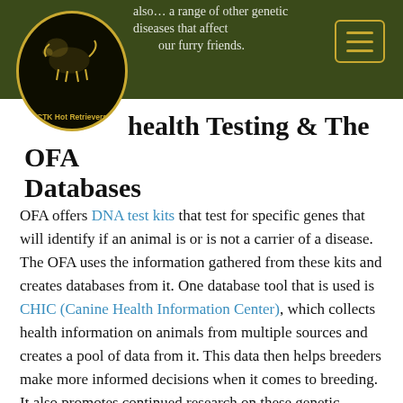CTK Hot Retrievers — Health Testing & The OFA Databases
Health Testing & The OFA Databases
OFA offers DNA test kits that test for specific genes that will identify if an animal is or is not a carrier of a disease. The OFA uses the information gathered from these kits and creates databases from it. One database tool that is used is CHIC (Canine Health Information Center), which collects health information on animals from multiple sources and creates a pool of data from it. This data then helps breeders make more informed decisions when it comes to breeding. It also promotes continued research on these genetic issues.
OFA is an extraordinary organization that works to improve the lives of our furry friends. Getting started...